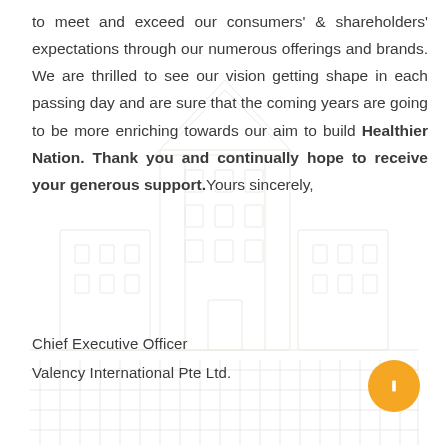to meet and exceed our consumers' & shareholders' expectations through our numerous offerings and brands. We are thrilled to see our vision getting shape in each passing day and are sure that the coming years are going to be more enriching towards our aim to build Healthier Nation. Thank you and continually hope to receive your generous support.Yours sincerely,
Chief Executive Officer
Valency International Pte Ltd.